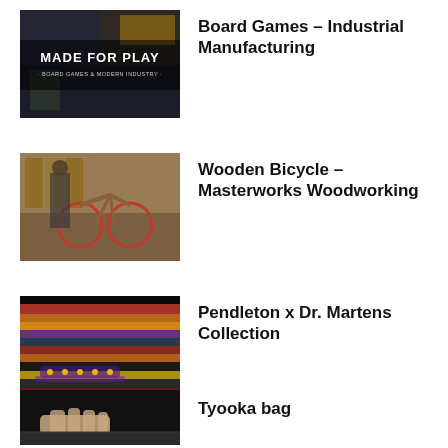[Figure (photo): Video thumbnail showing 'Made for Play - Board Games & Modern Industry' title card with industrial background]
Board Games – Industrial Manufacturing
[Figure (photo): Video thumbnail showing a person in a workshop with a wooden bicycle]
Wooden Bicycle – Masterworks Woodworking
[Figure (photo): Video thumbnail showing close-up of colorful knitted/woven fabric with warm tones]
Pendleton x Dr. Martens Collection
[Figure (photo): Video thumbnail showing hands working at a table]
Tyooka bag